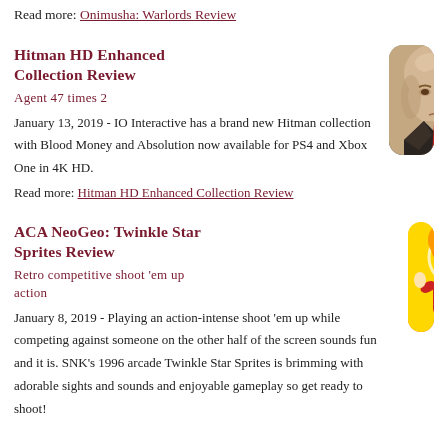Read more: Onimusha: Warlords Review
Hitman HD Enhanced Collection Review
Agent 47 times 2
January 13, 2019 - IO Interactive has a brand new Hitman collection with Blood Money and Absolution now available for PS4 and Xbox One in 4K HD.
Read more: Hitman HD Enhanced Collection Review
[Figure (photo): Close-up of a bald man in a suit with a red tie — Agent 47 from the Hitman video game series]
ACA NeoGeo: Twinkle Star Sprites Review
Retro competitive shoot 'em up action
January 8, 2019 - Playing an action-intense shoot 'em up while competing against someone on the other half of the screen sounds fun and it is. SNK's 1996 arcade Twinkle Star Sprites is brimming with adorable sights and sounds and enjoyable gameplay so get ready to shoot!
[Figure (photo): Anime-style cartoon girl character with blonde hair, green eyes, and red/white outfit from ACA NeoGeo: Twinkle Star Sprites]